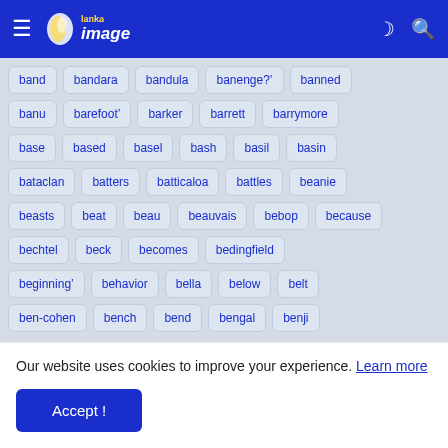Lanka Image — navigation bar with hamburger menu, logo, moon icon, search icon
band
bandara
bandula
banenge?&#8217;
banned
banu
barefoot&#8217;
barker
barrett
barrymore
base
based
basel
bash
basil
basin
bataclan
batters
batticaloa
battles
beanie
beasts
beat
beau
beauvais
bebop
because
bechtel
beck
becomes
bedingfield
beginning&#8217;
behavior
bella
below
belt
ben-cohen
bench
bend
bengal
benji
Our website uses cookies to improve your experience. Learn more
Accept !